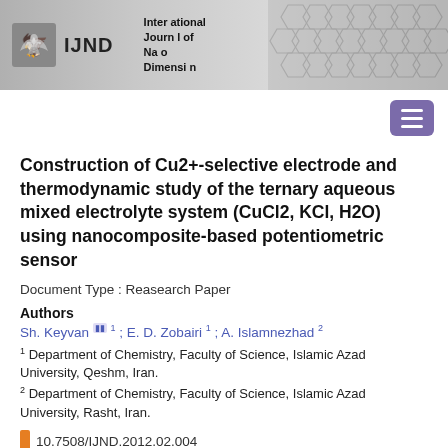IJND — International Journal of Nano Dimension
Construction of Cu2+-selective electrode and thermodynamic study of the ternary aqueous mixed electrolyte system (CuCl2, KCl, H2O) using nanocomposite-based potentiometric sensor
Document Type : Reasearch Paper
Authors
Sh. Keyvan [icon] 1 ;  E. D. Zobairi 1 ;  A. Islamnezhad 2
1 Department of Chemistry, Faculty of Science, Islamic Azad University, Qeshm, Iran.
2 Department of Chemistry, Faculty of Science, Islamic Azad University, Rasht, Iran.
10.7508/IJND.2012.02.004